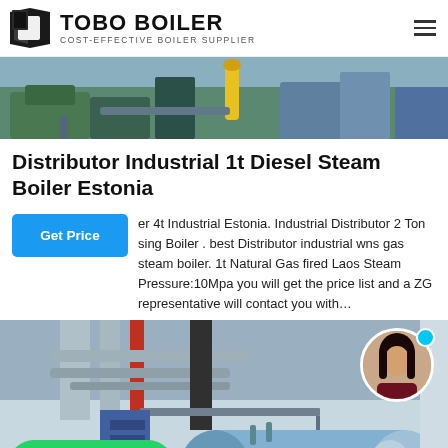[Figure (logo): TOBO BOILER logo with icon and text COST-EFFECTIVE BOILER SUPPLIER]
[Figure (photo): Top portion of industrial boiler facility photo showing green machinery and yellow pipe]
Distributor Industrial 1t Diesel Steam Boiler Estonia
er 4t Industrial Estonia. Industrial Distributor 2 Ton sing Boiler . best Distributor industrial wns gas steam boiler. 1t Natural Gas fired Laos Steam Pressure:10Mpa you will get the price list and a ZG representative will contact you with…
[Figure (photo): Industrial gas steam boiler installation inside a facility with pipes, red and silver pipes visible, large blue cylindrical boiler, WhatsApp contact button overlay, and female customer service avatar in circle]